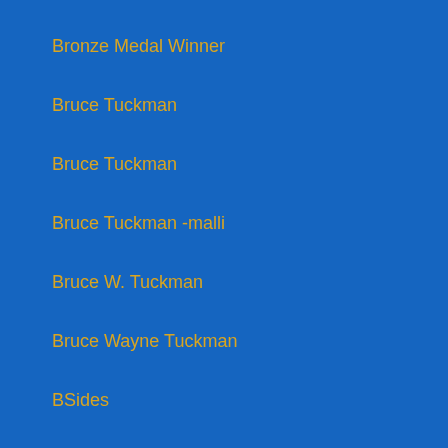Bronze Medal Winner
Bruce Tuckman
Bruce Tuckman
Bruce Tuckman -malli
Bruce W. Tuckman
Bruce Wayne Tuckman
BSides
BSides NCL
BSides Newcastle